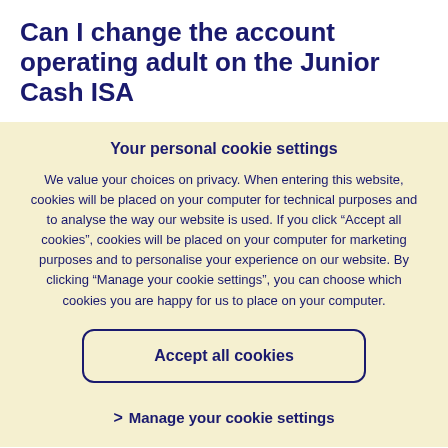Can I change the account operating adult on the Junior Cash ISA
Your personal cookie settings
We value your choices on privacy. When entering this website, cookies will be placed on your computer for technical purposes and to analyse the way our website is used. If you click “Accept all cookies”, cookies will be placed on your computer for marketing purposes and to personalise your experience on our website. By clicking “Manage your cookie settings”, you can choose which cookies you are happy for us to place on your computer.
Accept all cookies
> Manage your cookie settings